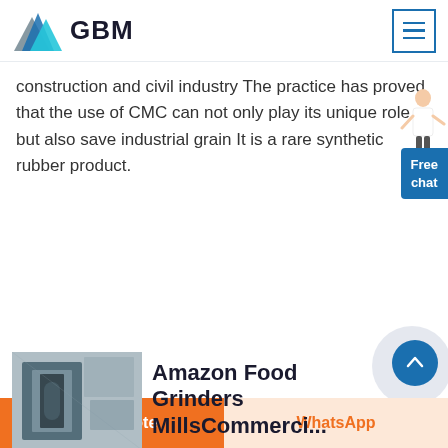GBM
construction and civil industry The practice has proved that the use of CMC can not only play its unique role but also save industrial grain It is a rare synthetic rubber product.
Get Price
[Figure (photo): Industrial grinding mill machinery in a factory setting]
Amazon Food Grinders MillsCommerci...